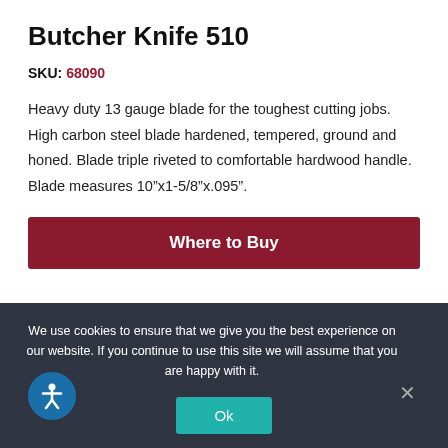Butcher Knife 510
SKU: 68090
Heavy duty 13 gauge blade for the toughest cutting jobs. High carbon steel blade hardened, tempered, ground and honed. Blade triple riveted to comfortable hardwood handle. Blade measures 10”x1-5/8”x.095”.
Where to Buy
We use cookies to ensure that we give you the best experience on our website. If you continue to use this site we will assume that you are happy with it.
Ok